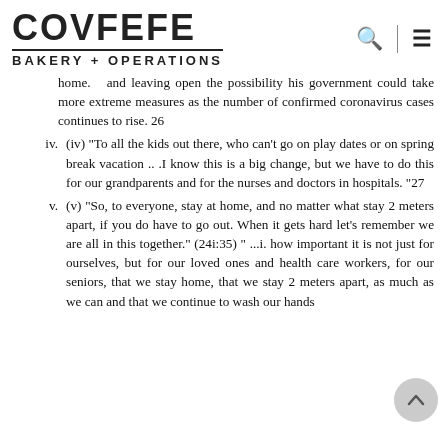COVFEFE BAKERY + OPERATIONS
home. — and leaving open the possibility his government could take more extreme measures as the number of confirmed coronavirus cases continues to rise. 26
iv. (iv) "To all the kids out there, who can't go on play dates or on spring break vacation .. .I know this is a big change, but we have to do this for our grandparents and for the nurses and doctors in hospitals. "27
v. (v) "So, to everyone, stay at home, and no matter what stay 2 meters apart, if you do have to go out. When it gets hard let's remember we are all in this together." (24i:35) " ...i. how important it is not just for ourselves, but for our loved ones and health care workers, for our seniors, that we stay home, that we stay 2 meters apart, as much as we can and that we continue to wash our hands